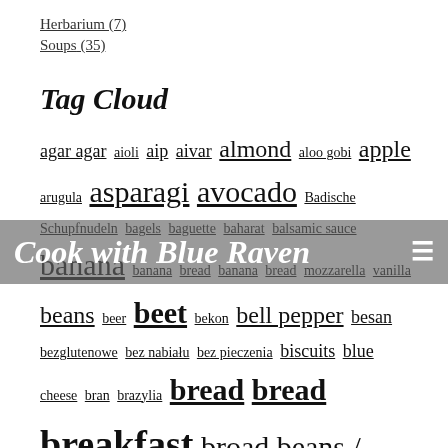Herbarium (7)
Soups (35)
Tag Cloud
agar agar aioli aip aivar almond aloo gobi apple arugula asparagi avocado Badische Schupfnudeln bagels baguette baharat balsamic sauce banana banana bread banana bread mozzarella beans beer beet bekon bell pepper besan bezglutenowe bez nabiału bez pieczenia biscuits blue cheese bran brazylia bread bread breakfast broad beans / fava beans broccoli broth brussels sprouts buckwheat bulgur buns burger buttermilk cabbage carmelized onion carrot